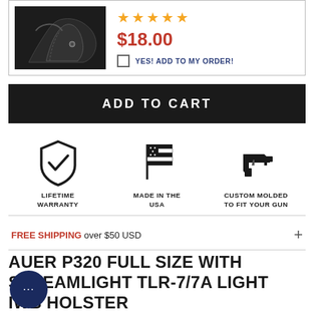[Figure (photo): Black holster product photo against dark background]
★★★★★
$18.00
YES! ADD TO MY ORDER!
ADD TO CART
[Figure (infographic): Three icons: shield with checkmark (LIFETIME WARRANTY), American flag (MADE IN THE USA), handgun (CUSTOM MOLDED TO FIT YOUR GUN)]
FREE SHIPPING over $50 USD
AUER P320 FULL SIZE WITH STREAMLIGHT TLR-7/7A LIGHT IWB HOLSTER